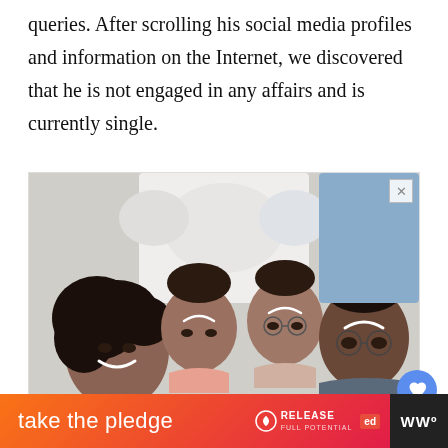queries. After scrolling his social media profiles and information on the Internet, we discovered that he is not engaged in any affairs and is currently single.
[Figure (photo): Advertisement showing a family of four (two adults and two children) lying on a bed looking up at the camera, smiling. Below the photo is bold text reading 'Black Families Matter'.]
take the pledge | RELEASE | ed | WWº